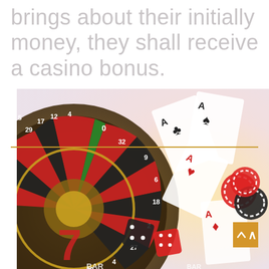brings about their initially money, they shall receive a casino bonus.
[Figure (photo): Casino-themed illustration showing a roulette wheel with numbers (0, 4, 5, 6, 9, 12, 17, 18, 22, 27, 28, 29, 32), playing cards (Aces of clubs, spades, diamonds, hearts), poker chips (red and black), dice, and a slot machine 'BAR' symbol. A golden horizontal divider line crosses the image. A golden scroll-up button is in the lower right.]